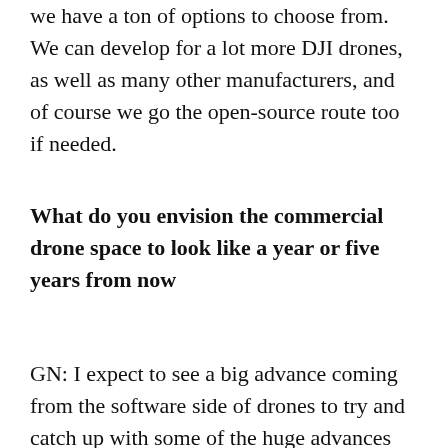we have a ton of options to choose from. We can develop for a lot more DJI drones, as well as many other manufacturers, and of course we go the open-source route too if needed.
What do you envision the commercial drone space to look like a year or five years from now
GN: I expect to see a big advance coming from the software side of drones to try and catch up with some of the huge advances we've seen in the hardware. I expect to